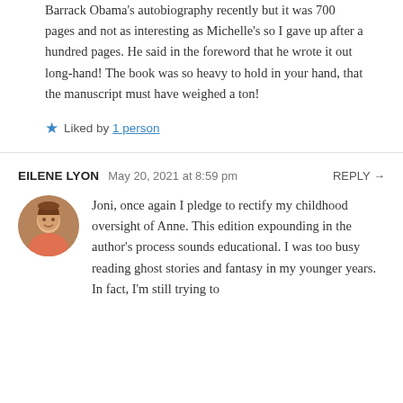Barrack Obama's autobiography recently but it was 700 pages and not as interesting as Michelle's so I gave up after a hundred pages. He said in the foreword that he wrote it out long-hand! The book was so heavy to hold in your hand, that the manuscript must have weighed a ton!
★ Liked by 1 person
EILENE LYON  May 20, 2021 at 8:59 pm  REPLY →
Joni, once again I pledge to rectify my childhood oversight of Anne. This edition expounding in the author's process sounds educational. I was too busy reading ghost stories and fantasy in my younger years. In fact, I'm still trying to